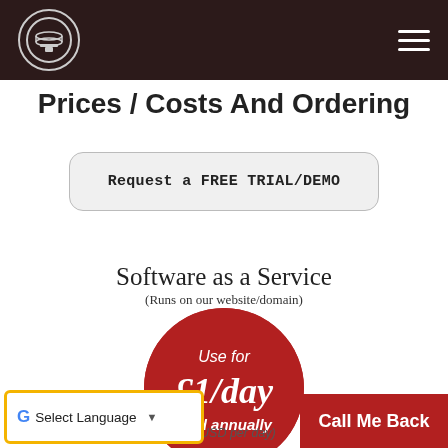Logo and navigation header
Prices / Costs And Ordering
Request a FREE TRIAL/DEMO
Software as a Service
(Runs on our website/domain)
[Figure (infographic): Red circle with pricing info: Use for £1/day paid annually]
~$1.30 USD per day)
Select Language
Call Me Back